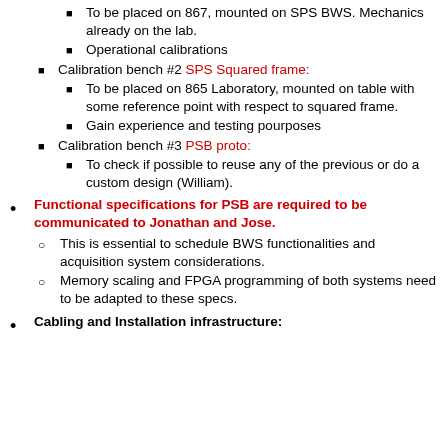Calibration bench #1 SPS proto: To be placed on 867, mounted on SPS BWS. Mechanics already on the lab.
Operational calibrations
Calibration bench #2 SPS Squared frame: To be placed on 865 Laboratory, mounted on table with some reference point with respect to squared frame.
Gain experience and testing pourposes
Calibration bench #3 PSB proto: To check if possible to reuse any of the previous or do a custom design (William).
Functional specifications for PSB are required to be communicated to Jonathan and Jose.
This is essential to schedule BWS functionalities and acquisition system considerations.
Memory scaling and FPGA programming of both systems need to be adapted to these specs.
Cabling and Installation infrastructure: